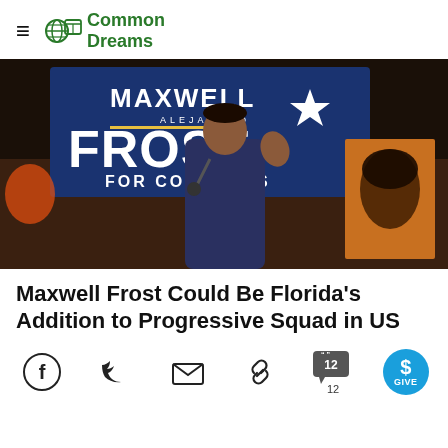Common Dreams
[Figure (photo): Maxwell Alejandro Frost speaking at a microphone on stage in front of a campaign sign reading MAXWELL ALEJANDRO FROST FOR CONGRESS]
Maxwell Frost Could Be Florida's Addition to Progressive Squad in US
[Figure (infographic): Social sharing bar with Facebook, Twitter, Email, Link, Comments (12), and GIVE button icons]